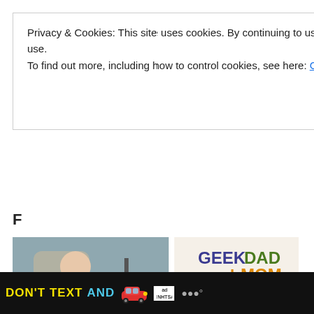Privacy & Cookies: This site uses cookies. By continuing to use this website, you agree to their use.
To find out more, including how to control cookies, see here: Cookie Policy
Close and accept
F
[Figure (photo): Woman sitting on rocks outdoors using a phone, with filming equipment nearby]
Kari Byron – From MythBuster to Mom
October 4, 2010
In "Featured"
[Figure (logo): GeekDad and GeekMom logo with colorful robot characters]
A Refresh and a Resurgence: GeekDad + GeekMom
March 14, 2016
In "Events"
[Figure (logo): Geek logo in teal/turquoise large text]
[Figure (infographic): Advertisement: DON'T TEXT AND [car icon] with NHTSA branding]